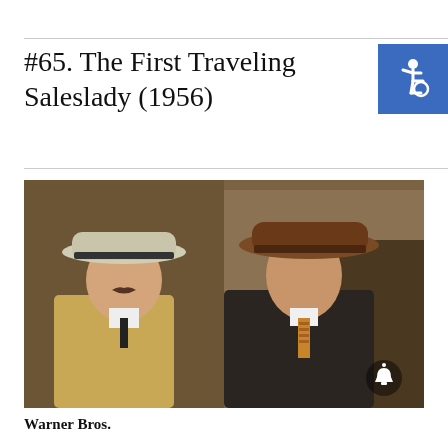#65. The First Traveling Saleslady (1956)
[Figure (photo): Two men in period hats — one wearing a light fedora with dark band and tan trench coat, the other wearing a brown fedora and dark overcoat with a patterned tie. Scene appears to be from a film set or staged location.]
Warner Bros.